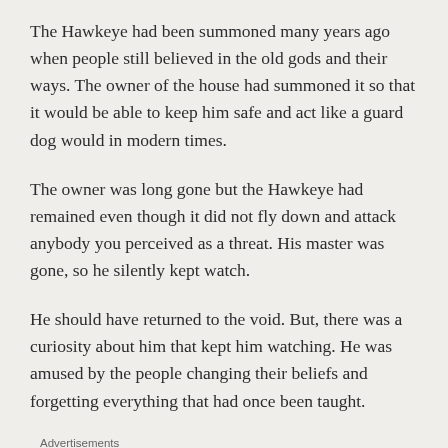The Hawkeye had been summoned many years ago when people still believed in the old gods and their ways. The owner of the house had summoned it so that it would be able to keep him safe and act like a guard dog would in modern times.
The owner was long gone but the Hawkeye had remained even though it did not fly down and attack anybody you perceived as a threat. His master was gone, so he silently kept watch.
He should have returned to the void. But, there was a curiosity about him that kept him watching. He was amused by the people changing their beliefs and forgetting everything that had once been taught.
Advertisements
[Figure (other): Advertisement banner with dark navy background showing the word 'Opinions.' in white italic text on the left, and WordPress logo and another circular logo on the right.]